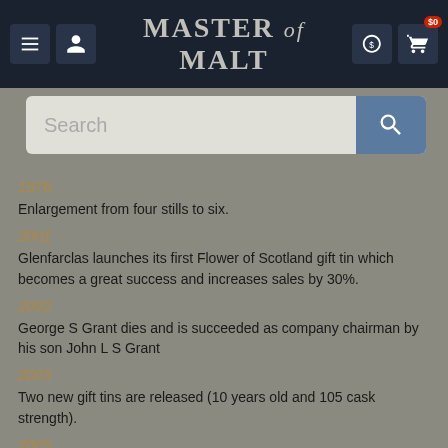Master of Malt
1976
Enlargement from four stills to six.
2001
Glenfarclas launches its first Flower of Scotland gift tin which becomes a great success and increases sales by 30%.
2002
George S Grant dies and is succeeded as company chairman by his son John L S Grant
2003
Two new gift tins are released (10 years old and 105 cask strength).
2005
A 50 year old is released to commemorate the bi-centenary of John Grant's birth.